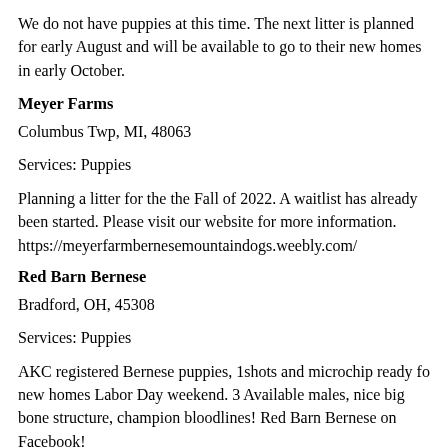We do not have puppies at this time. The next litter is planned for early August and will be available to go to their new homes in early October.
Meyer Farms
Columbus Twp, MI, 48063
Services: Puppies
Planning a litter for the the Fall of 2022. A waitlist has already been started. Please visit our website for more information. https://meyerfarmbernesemountaindogs.weebly.com/
Red Barn Bernese
Bradford, OH, 45308
Services: Puppies
AKC registered Bernese puppies, 1shots and microchip ready fo new homes Labor Day weekend. 3 Available males, nice big bone structure, champion bloodlines! Red Barn Bernese on Facebook!
Rocky Top Acres